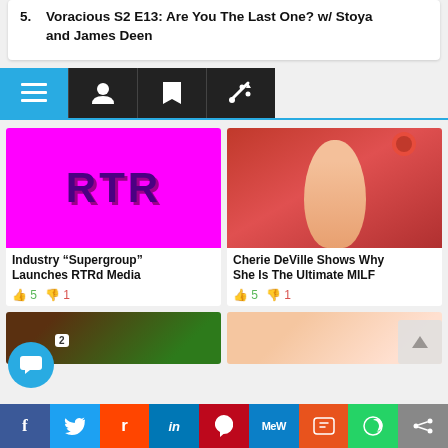5. Voracious S2 E13: Are You The Last One? w/ Stoya and James Deen
[Figure (screenshot): Navigation bar with four icon buttons: hamburger menu (blue), user icon (black), bookmark icon (black), tag icon (black), with blue bottom border]
[Figure (photo): Magenta/pink background image with purple bold text 'RTR' — logo/branding image for RTRd Media]
Industry “Supergroup” Launches RTRd Media
👍 5   👎 1
[Figure (photo): Woman with brown curly hair, red rose in hair, against red background — Cherie DeVille promotional photo]
Cherie DeVille Shows Why She Is The Ultimate MILF
👍 5   👎 1
[Figure (screenshot): Social sharing bar at bottom with icons for Facebook, Twitter, Reddit, LinkedIn, Pinterest, MeWe, Mix, WhatsApp, and a share icon]